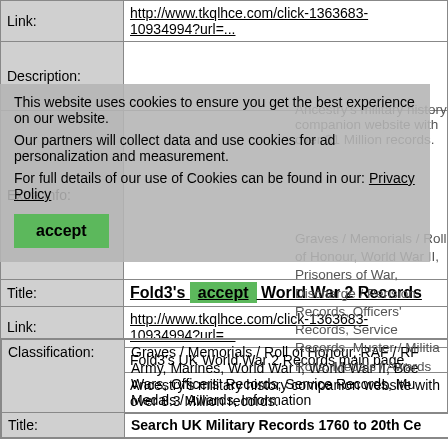| Link: | http://www.tkqlhce.com/click-1363683-10934994?url=... |
| Description: | This website uses cookies to ensure you get the best experience on our website. (overlay) Ancestry's military history companion website with over 31 Million records. |
| Extra Info: | (overlay) Graves / Memorials / Roll of Honour, World War II, Prisoners of War, Discharge / Pension Records, Officers' Records, Service Records, Muster / Militia Rolls, Medals / Awards |
| Title: | Fold3's and World War 2 Records |
| Link: | http://www.tkqlhce.com/click-1363683-10934994?url=... |
| Description: | Fold3's UK World War 2 Records main page. |
| Extra Info: | Ancestry's military history companion website with over 8.3 Million records. |
Cookie consent overlay: This website uses cookies to ensure you get the best experience on our website. Our partners will collect data and use cookies for ad personalization and measurement. For full details of our use of Cookies can be found in our: Privacy Policy. [accept button]
| Classification: | Graves / Memorials / Roll of Honour, RAF / RF Army, Marines, World War I, World War II, Boe Wars, Officers' Records, Service Records, Mu Medals / Awards, Information |
| Title: | Search UK Military Records 1760 to 20th Ce |